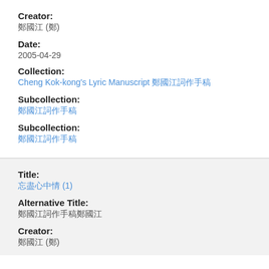Creator:
鄭國江 (鄭)
Date:
2005-04-29
Collection:
Cheng Kok-kong's Lyric Manuscript 鄭國江詞作手稿
Subcollection:
鄭國江詞作手稿
Subcollection:
鄭國江詞作手稿
Title:
忘盡心中情 (1)
Alternative Title:
鄭國江詞作手稿鄭國江
Creator:
鄭國江 (鄭)